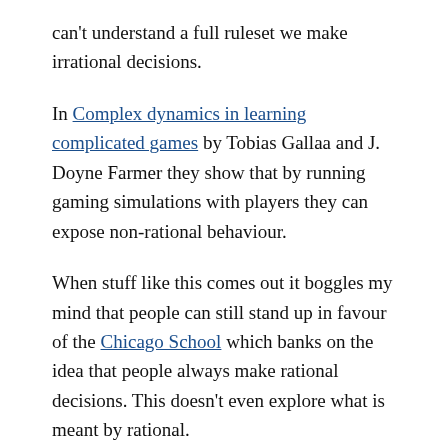can't understand a full ruleset we make irrational decisions.
In Complex dynamics in learning complicated games by Tobias Gallaa and J. Doyne Farmer they show that by running gaming simulations with players they can expose non-rational behaviour.
When stuff like this comes out it boggles my mind that people can still stand up in favour of the Chicago School which banks on the idea that people always make rational decisions. This doesn't even explore what is meant by rational.
Here's the abstract from the paper: